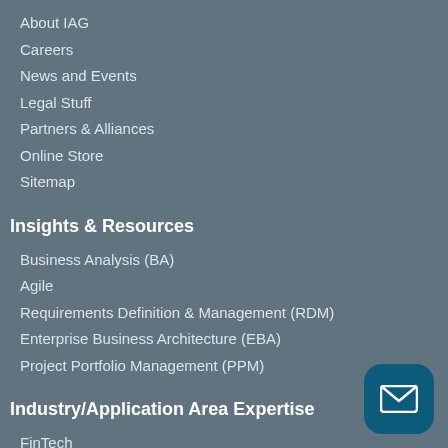About IAG
Careers
News and Events
Legal Stuff
Partners & Alliances
Online Store
Sitemap
Insights & Resources
Business Analysis (BA)
Agile
Requirements Definition & Management (RDM)
Enterprise Business Architecture (EBA)
Project Portfolio Management (PPM)
Industry/Application Area Expertise
FinTech
[Figure (illustration): Email/envelope icon button, dark teal rounded square background]